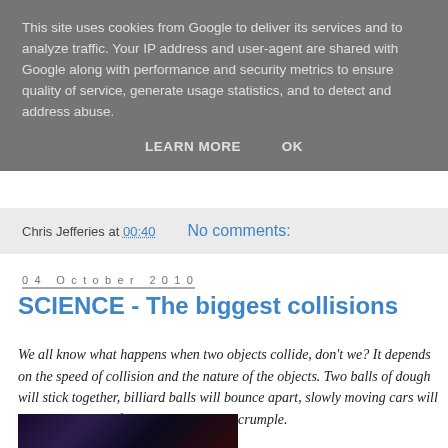This site uses cookies from Google to deliver its services and to analyze traffic. Your IP address and user-agent are shared with Google along with performance and security metrics to ensure quality of service, generate usage statistics, and to detect and address abuse.
LEARN MORE   OK
Chris Jefferies at 00:40   No comments:
04 October 2010
SCIENCE - The biggest collisions
We all know what happens when two objects collide, don't we? It depends on the speed of collision and the nature of the objects. Two balls of dough will stick together, billiard balls will bounce apart, slowly moving cars will stop one another, fast moving cars will crumple.
[Figure (photo): Dark space/nebula photograph, partially visible at bottom of page]